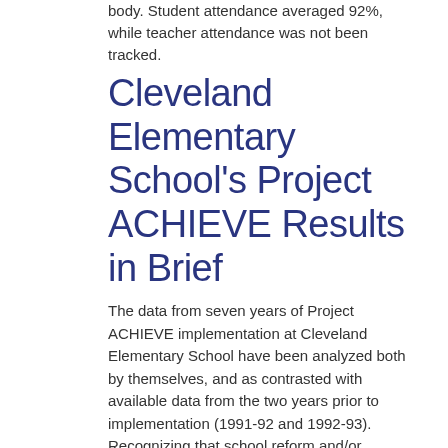body. Student attendance averaged 92%, while teacher attendance was not been tracked.
Cleveland Elementary School's Project ACHIEVE Results in Brief
The data from seven years of Project ACHIEVE implementation at Cleveland Elementary School have been analyzed both by themselves, and as contrasted with available data from the two years prior to implementation (1991-92 and 1992-93). Recognizing that school reform and/or